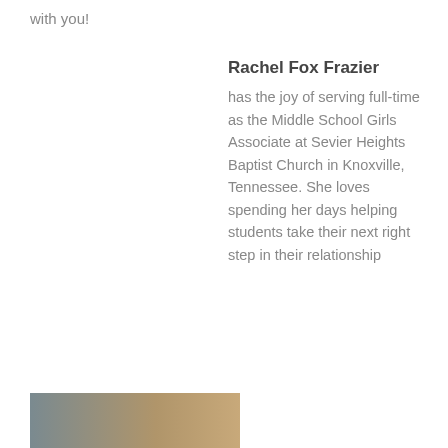with you!
Rachel Fox Frazier
has the joy of serving full-time as the Middle School Girls Associate at Sevier Heights Baptist Church in Knoxville, Tennessee. She loves spending her days helping students take their next right step in their relationship
[Figure (photo): Partial photo visible at bottom left of page]